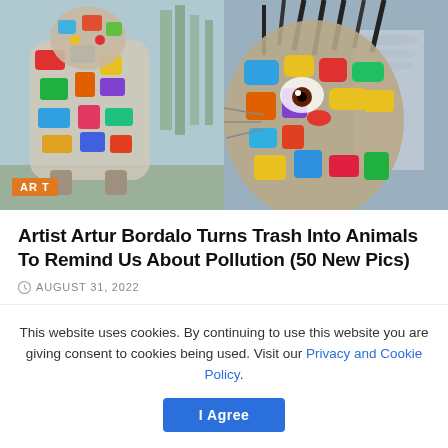[Figure (photo): Two photos side by side: left shows a colorful trash-art animal sculpture outdoors with trees in background; right shows a close-up of a colorful trash-art animal face/head with a building in background. An orange 'ART' badge overlays the bottom-left of the left photo.]
Artist Artur Bordalo Turns Trash Into Animals To Remind Us About Pollution (50 New Pics)
AUGUST 31, 2022
This website uses cookies. By continuing to use this website you are giving consent to cookies being used. Visit our Privacy and Cookie Policy.